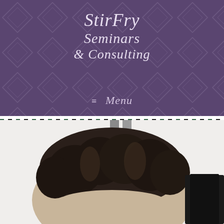[Figure (logo): StirFry Seminars & Consulting logo with decorative italic text on purple background with diamond pattern, followed by a hamburger menu icon and 'Menu' text]
[Figure (photo): Partial photo showing the top of a person's head with dark curly hair, cropped at the bottom of the page, with what appears to be a dark object on the right side]